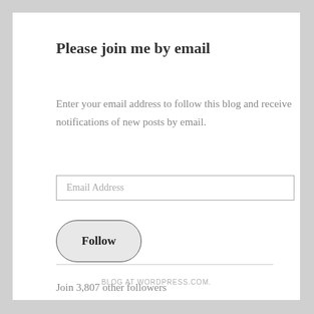Please join me by email
Enter your email address to follow this blog and receive notifications of new posts by email.
Email Address
Follow
Join 3,807 other followers
BLOG AT WORDPRESS.COM.